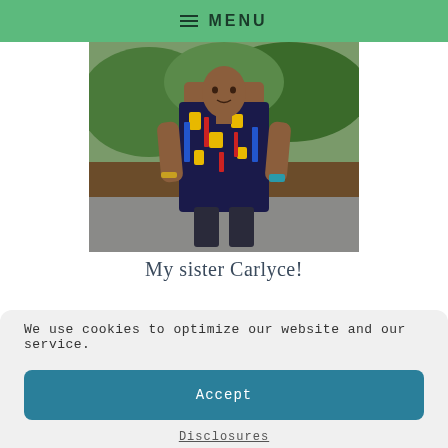MENU
[Figure (photo): Woman wearing a colorful African-print pattern sleeveless top in blue, yellow, red and pink, standing outdoors with trees and pavement in background, hands on hips, wearing a watch and bracelet.]
My sister Carlyce!
We use cookies to optimize our website and our service.
Accept
Disclosures